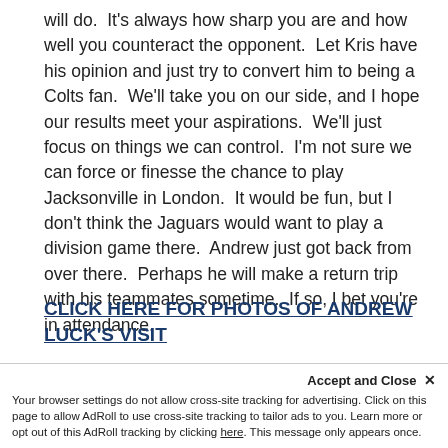will do.  It's always how sharp you are and how well you counteract the opponent.  Let Kris have his opinion and just try to convert him to being a Colts fan.  We'll take you on our side, and I hope our results meet your aspirations.  We'll just focus on things we can control.  I'm not sure we can force or finesse the chance to play Jacksonville in London.  It would be fun, but I don't think the Jaguars would want to play a division game there.  Andrew just got back from over there.  Perhaps he will make a return trip with his teammates sometime.  If so, I bet you're in attendance.
CLICK HERE FOR PHOTOS OF ANDREW LUCK'S VISIT
JEFF S. (from Savannah, GA) I was born in 1988 and
Accept and Close ×
Your browser settings do not allow cross-site tracking for advertising. Click on this page to allow AdRoll to use cross-site tracking to tailor ads to you. Learn more or opt out of this AdRoll tracking by clicking here. This message only appears once.